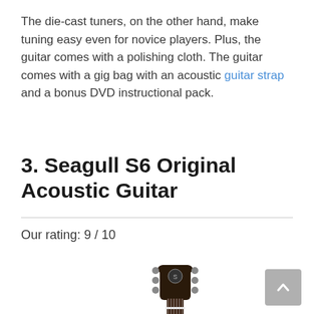The die-cast tuners, on the other hand, make tuning easy even for novice players. Plus, the guitar comes with a polishing cloth. The guitar comes with a gig bag with an acoustic guitar strap and a bonus DVD instructional pack.
3. Seagull S6 Original Acoustic Guitar
Our rating: 9 / 10
[Figure (photo): Photo of Seagull S6 Original Acoustic Guitar headstock, showing tuning pegs and the top of the neck]